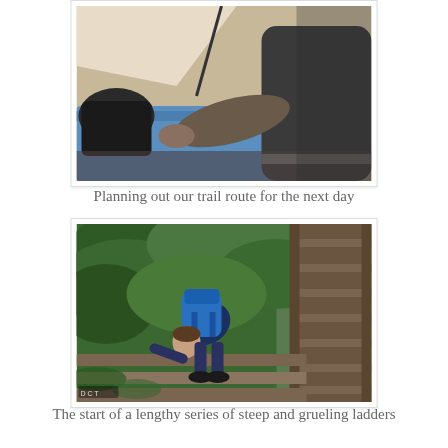[Figure (photo): Person sitting inside a tent, looking at a blue sleeping pad or gear, wearing a dark t-shirt. Tent interior visible with light fabric sides.]
Planning out our trail route for the next day
[Figure (photo): Hiker with a blue backpack climbing up wooden stairs/ladders in a lush green forested area. The hiker is bent forward on the steep wooden steps surrounded by dense green foliage.]
The start of a lengthy series of steep and grueling ladders